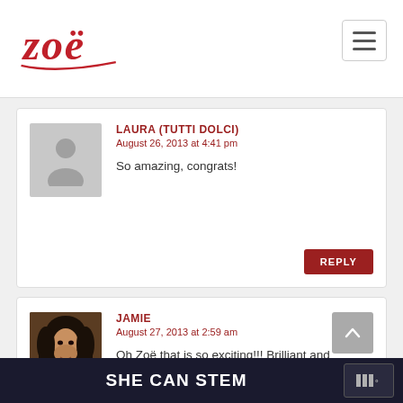Zoë [logo] with hamburger menu
LAURA (TUTTI DOLCI)
August 26, 2013 at 4:41 pm
So amazing, congrats!
REPLY
JAMIE
August 27, 2013 at 2:59 am
Oh Zoë that is so exciting!!! Brilliant and thrilling and so well deserved! And I cannot wait to see the new book! Congratulations!!
SHE CAN STEM